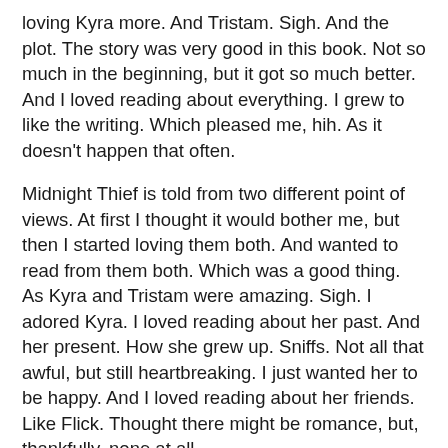loving Kyra more. And Tristam. Sigh. And the plot. The story was very good in this book. Not so much in the beginning, but it got so much better. And I loved reading about everything. I grew to like the writing. Which pleased me, hih. As it doesn't happen that often.
Midnight Thief is told from two different point of views. At first I thought it would bother me, but then I started loving them both. And wanted to read from them both. Which was a good thing. As Kyra and Tristam were amazing. Sigh. I adored Kyra. I loved reading about her past. And her present. How she grew up. Sniffs. Not all that awful, but still heartbreaking. I just wanted her to be happy. And I loved reading about her friends. Like Flick. Thought there might be romance, but, thankfully, none at all.
Then there is Tristam. And hm. I just realized that we don't get to know all that much about him. Or wait. There might just not have been that much to know. But I still managed to love him. He was awesome to read about. And oh, how I wanted the romance between him and Kyra. It is a little bit. But not that much. But still enough to make my heart happy. I